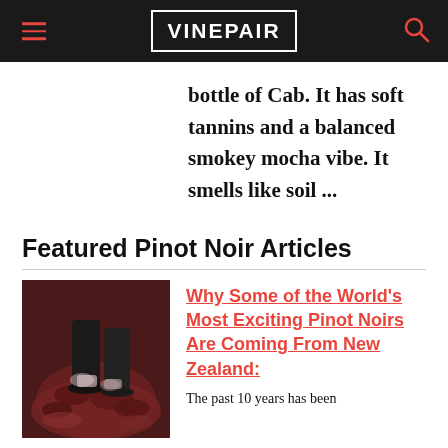VINEPAIR
bottle of Cab. It has soft tannins and a balanced smokey mocha vibe. It smells like soil ...
Featured Pinot Noir Articles
[Figure (photo): Close-up photo of feet/boots pressing grapes in a red wine must, with dark red grape skins visible]
Why Some of the World's Most Exciting Pinot Noirs Are Coming From New Zealand:
The past 10 years has been